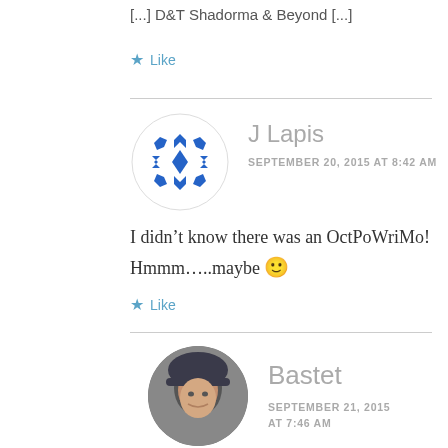[...] D&T Shadorma & Beyond [...]
★ Like
J Lapis
SEPTEMBER 20, 2015 AT 8:42 AM
I didn't know there was an OctPoWriMo! Hmmm.....maybe 🙂
★ Like
Bastet
SEPTEMBER 21, 2015 AT 7:46 AM